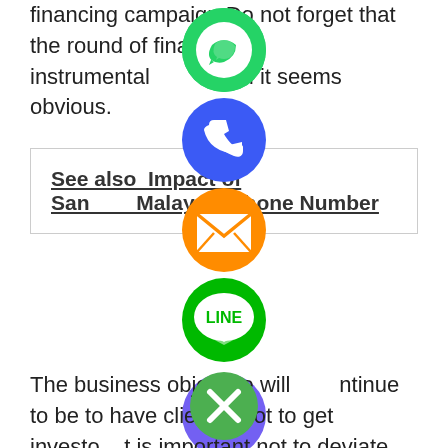financing campaign Do not forget that the round of financing is instrumental though it seems obvious.
See also  Impact of Sanctions Malaysia Phone Number
[Figure (illustration): A vertical stack of social media / messaging app icons: WhatsApp (green), Phone/Viber (blue), Email (orange), LINE (green), Viber (purple), and a close button (green with X)]
The business objective will continue to be to have clients. Not to get investors. It is important not to deviate from this main focus. Which is why it is